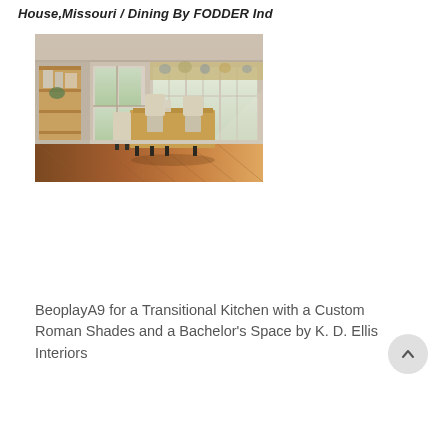House,Missouri / Dining By FODDER Ind
[Figure (photo): Interior dining room photo showing a wooden table with upholstered chairs, large windows with patterned valances letting in natural light, hardwood herringbone floor, and a wooden shelving unit on the left side.]
BeoplayA9 for a Transitional Kitchen with a Custom Roman Shades and a Bachelor's Space by K. D. Ellis Interiors